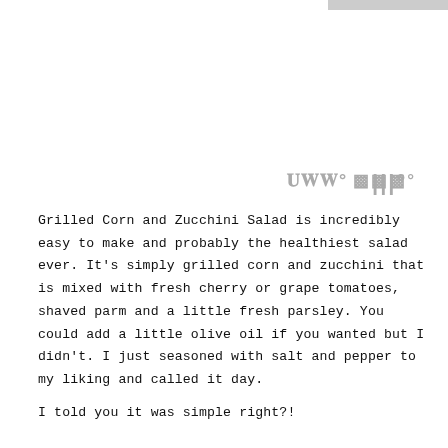[Figure (other): Small decorative icon resembling stylized letter W with a degree symbol, in gray, in the upper right area of the page]
Grilled Corn and Zucchini Salad is incredibly easy to make and probably the healthiest salad ever. It's simply grilled corn and zucchini that is mixed with fresh cherry or grape tomatoes, shaved parm and a little fresh parsley. You could add a little olive oil if you wanted but I didn't. I just seasoned with salt and pepper to my liking and called it day.
I told you it was simple right?!